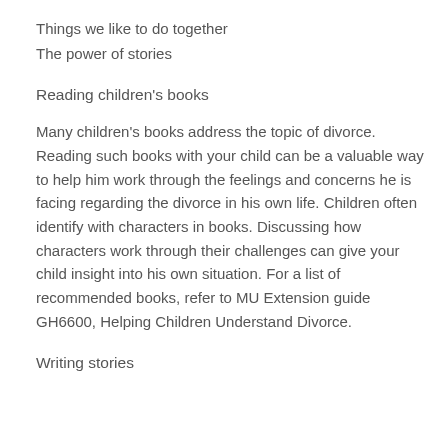Things we like to do together
The power of stories
Reading children's books
Many children's books address the topic of divorce. Reading such books with your child can be a valuable way to help him work through the feelings and concerns he is facing regarding the divorce in his own life. Children often identify with characters in books. Discussing how characters work through their challenges can give your child insight into his own situation. For a list of recommended books, refer to MU Extension guide GH6600, Helping Children Understand Divorce.
Writing stories